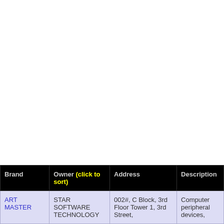| Brand | Owner (click to sort) | Address | Description |
| --- | --- | --- | --- |
| ART MASTER | STAR SOFTWARE TECHNOLOGY | 002#, C Block, 3rd Floor Tower 1, 3rd Street, | Computer peripheral devices, |